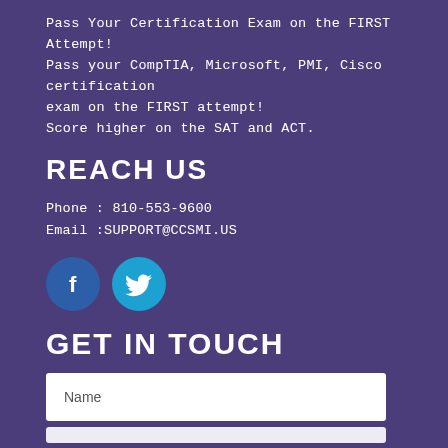Pass Your Certification Exam on the FIRST Attempt!
Pass your CompTIA, Microsoft, PMI, Cisco certification exam on the FIRST attempt!
Score higher on the SAT and ACT.
REACH US
Phone : 810-553-9600
Email :SUPPORT@CCSMI.US
[Figure (illustration): Facebook and Twitter social media icon circles — dark blue circle with white 'f' letter for Facebook, cyan/light blue circle with white Twitter bird icon]
GET IN TOUCH
Name